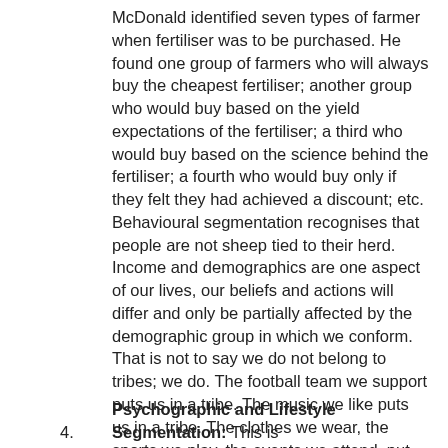McDonald identified seven types of farmer when fertiliser was to be purchased. He found one group of farmers who will always buy the cheapest fertiliser; another group who would buy based on the yield expectations of the fertiliser; a third who would buy based on the science behind the fertiliser; a fourth who would buy only if they felt they had achieved a discount; etc. Behavioural segmentation recognises that people are not sheep tied to their herd. Income and demographics are one aspect of our lives, our beliefs and actions will differ and only be partially affected by the demographic group in which we conform. That is not to say we do not belong to tribes; we do. The football team we support puts us in a tribe. The music we like puts us in a tribe. The clothes we wear, the sports we play, the events we attend, put us in tribes. The important thing to realise is that we can all be members of several tribes simultaneously.
4. Psychographic and Lifestyle Segmentation: This is